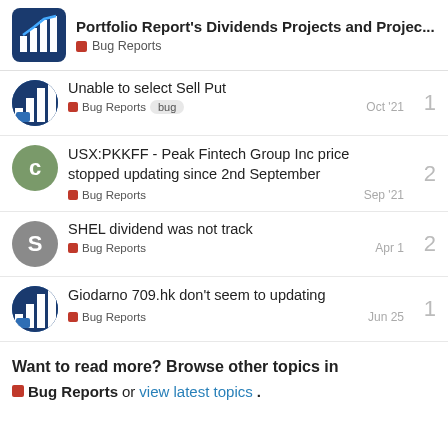Portfolio Report's Dividends Projects and Projec... Bug Reports
Unable to select Sell Put — Bug Reports, bug — Oct '21 — 1 reply
USX:PKKFF - Peak Fintech Group Inc price stopped updating since 2nd September — Bug Reports — Sep '21 — 2 replies
SHEL dividend was not track — Bug Reports — Apr 1 — 2 replies
Giodarno 709.hk don't seem to updating — Bug Reports — Jun 25 — 1 reply
Want to read more? Browse other topics in Bug Reports or view latest topics.